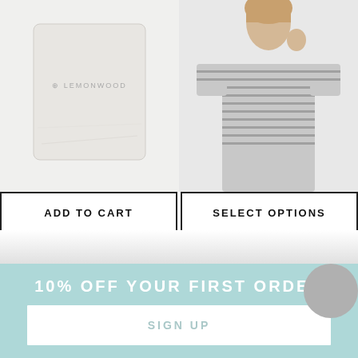[Figure (photo): Lavender linen sachet product image - light gray fabric pouch with LEMONWOOD logo text]
[Figure (photo): Woman wearing the Cassidy Top - striped gray and white t-shirt]
ADD TO CART
SELECT OPTIONS
[Figure (photo): Small circular swatch thumbnail of the Cassidy Top]
LAVENDER LINEN SACHET
CASSIDY TOP
$14.00
$120.00 | $48.00
MORE SIZES AVAILABLE
10% OFF YOUR FIRST ORDER
SIGN UP